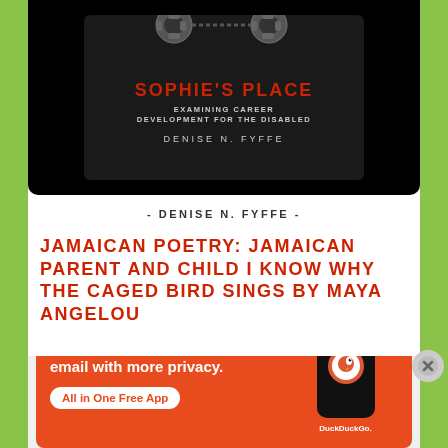[Figure (photo): Book cover for 'Sophie's Place: Examining Career Development for the Disabled' by Denise N. Fyffe, shown on a dark background]
- DENISE N. FYFFE -
JAMAICAN POETRY: JAMAICAN PARENT AND CHILD I KNOW WHY THE CAGED BIRD SINGS BY MAYA ANGELOU
[Figure (photo): Black and white photograph of a person from behind]
Advertisements
[Figure (other): DuckDuckGo advertisement: Search, browse, and email with more privacy. All in One Free App]